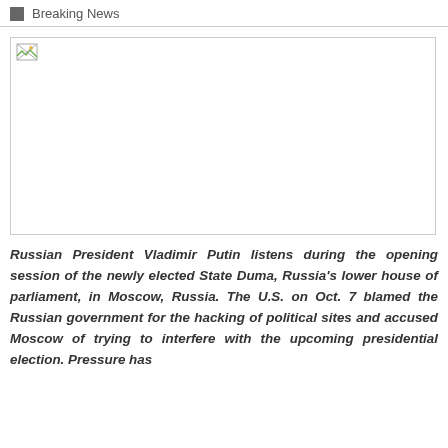Breaking News
[Figure (photo): Broken/unloaded image placeholder — photo of Russian President Vladimir Putin during the opening session of the newly elected State Duma]
Russian President Vladimir Putin listens during the opening session of the newly elected State Duma, Russia's lower house of parliament, in Moscow, Russia. The U.S. on Oct. 7 blamed the Russian government for the hacking of political sites and accused Moscow of trying to interfere with the upcoming presidential election. Pressure has